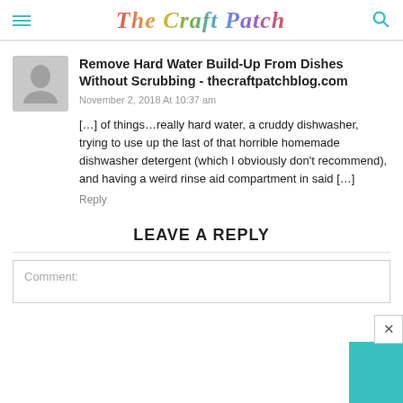The Craft Patch
Remove Hard Water Build-Up From Dishes Without Scrubbing - thecraftpatchblog.com
November 2, 2018 At 10:37 am
[…] of things…really hard water, a cruddy dishwasher, trying to use up the last of that horrible homemade dishwasher detergent (which I obviously don't recommend), and having a weird rinse aid compartment in said […]
Reply
LEAVE A REPLY
Comment: